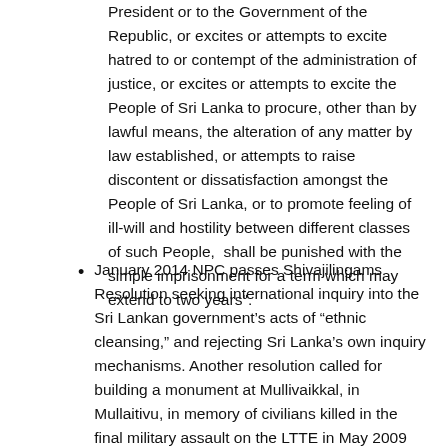President or to the Government of the Republic, or excites or attempts to excite hatred to or contempt of the administration of justice, or excites or attempts to excite the People of Sri Lanka to procure, other than by lawful means, the alteration of any matter by law established, or attempts to raise discontent or dissatisfaction amongst the People of Sri Lanka, or to promote feeling of ill-will and hostility between different classes of such People,  shall be punished with the simple imprisonment for a term which may extend to two years".
January 2014 NPC passes Shivajilingams Resolution seeking international inquiry into the Sri Lankan government's acts of "ethnic cleansing," and rejecting Sri Lanka's own inquiry mechanisms. Another resolution called for building a monument at Mullivaikkal, in Mullaitivu, in memory of civilians killed in the final military assault on the LTTE in May 2009 (most believe